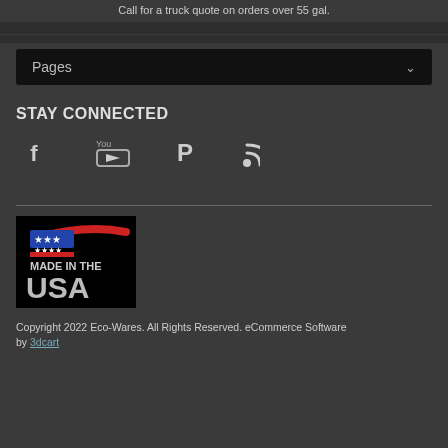Call for a truck quote on orders over 55 gal.
Pages
STAY CONNECTED
[Figure (illustration): Social media icons: Facebook, YouTube, Pinterest, RSS feed]
[Figure (logo): Made in the USA logo with American flag and swoosh on black background]
Copyright 2022 Eco-Wares. All Rights Reserved. eCommerce Software by 3dcart